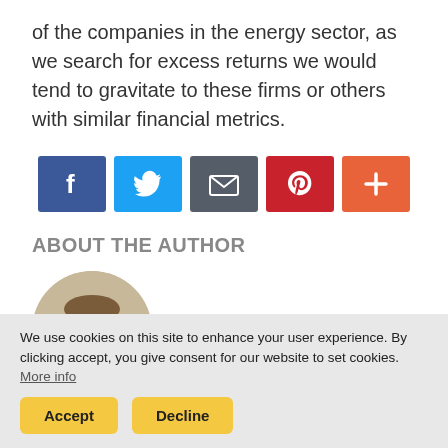of the companies in the energy sector, as we search for excess returns we would tend to gravitate to these firms or others with similar financial metrics.
[Figure (infographic): Social share buttons: Facebook (blue), Twitter (light blue), Email (dark gray), Pinterest (red), Plus/More (orange-red)]
ABOUT THE AUTHOR
[Figure (photo): Circular headshot photo of a middle-aged man in a suit, smiling, against a light background.]
We use cookies on this site to enhance your user experience. By clicking accept, you give consent for our website to set cookies. More info
Accept    Decline